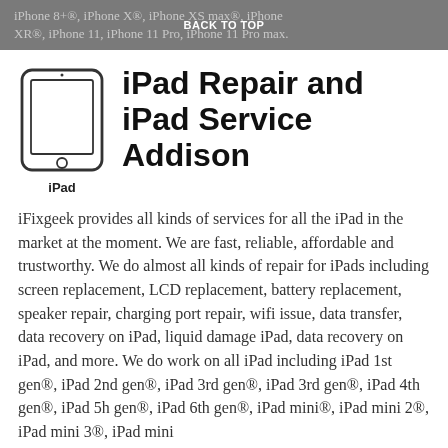iPhone 8+®, iPhone X®, iPhone XS max®, iPhone XR®, iPhone 11, iPhone 11 Pro, iPhone 11 Pro max.
iPad Repair and iPad Service Addison
[Figure (illustration): iPad device icon with 'iPad' label below]
iFixgeek provides all kinds of services for all the iPad in the market at the moment. We are fast, reliable, affordable and trustworthy. We do almost all kinds of repair for iPads including screen replacement, LCD replacement, battery replacement, speaker repair, charging port repair, wifi issue, data transfer, data recovery on iPad, liquid damage iPad, data recovery on iPad, and more. We do work on all iPad including iPad 1st gen®, iPad 2nd gen®, iPad 3rd gen®, iPad 3rd gen®, iPad 4th gen®, iPad 5h gen®, iPad 6th gen®, iPad mini®, iPad mini 2®, iPad mini 3®, iPad mini